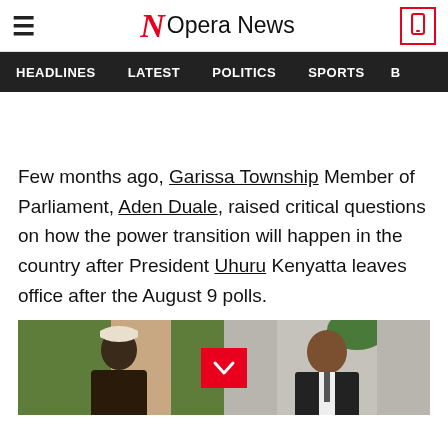Opera News
HEADLINES  LATEST  POLITICS  SPORTS
Few months ago, Garissa Township Member of Parliament, Aden Duale, raised critical questions on how the power transition will happen in the country after President Uhuru Kenyatta leaves office after the August 9 polls.
[Figure (photo): Two men photographed side by side — left person wearing a white cap against a green background, right person in a suit against a light background. A red chevron/expand button overlaid in the center.]